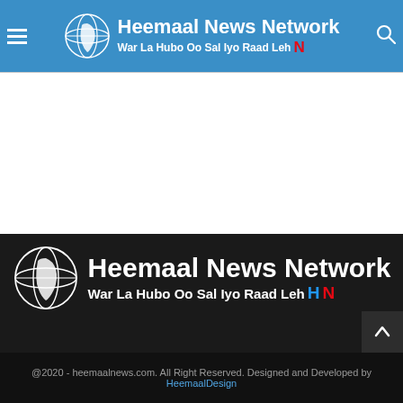Heemaal News Network — War La Hubo Oo Sal Iyo Raad Leh
[Figure (logo): Heemaal News Network logo with globe icon on blue background header bar]
[Figure (logo): Heemaal News Network logo with globe icon on dark footer background]
@2020 - heemaalnews.com. All Right Reserved. Designed and Developed by HeemaalDesign